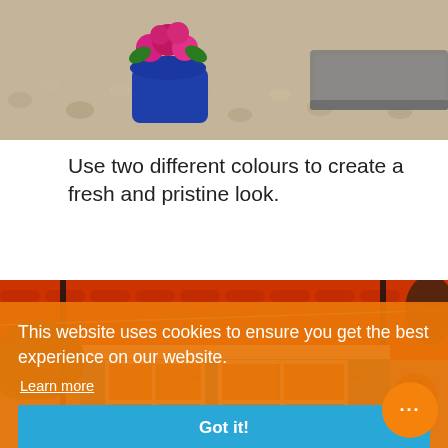[Figure (photo): Top portion of an outdoor garden/patio photo showing a blue pot with pink/red flowers, grey stone edge, and gravel/pebble ground. Only the bottom portion of the scene is visible.]
Use two different colours to create a fresh and pristine look.
[Figure (photo): Photo of a teal/blue painted garden shed or summer house with white trim, French-style doors with orange/brown glazing bars, red/orange tiled roof visible at top, decorative sun face on right wall, string lights, and greenery on the left. An orange cookie consent banner overlays the bottom portion.]
This website uses cookies to ensure you get the best experience on our website.
Learn more
Got it!